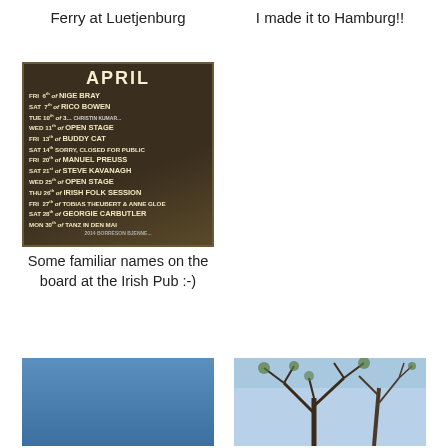Ferry at Luetjenburg
I made it to Hamburg!!
[Figure (photo): A chalkboard sign at an Irish Pub showing April event schedule with performer names including Nige Bray, Rico Bowen, Open Stage, Buddy Cat, Manuel Preuss, Steve Kavanagh, Irish Folk Session, Tobias Theubert & Anne Gloe, Georgie Carbutler]
Some familiar names on the board at the Irish Pub :-)
[Figure (photo): Blue sky photo, bottom left]
[Figure (photo): Tree branches against sky, bottom right]